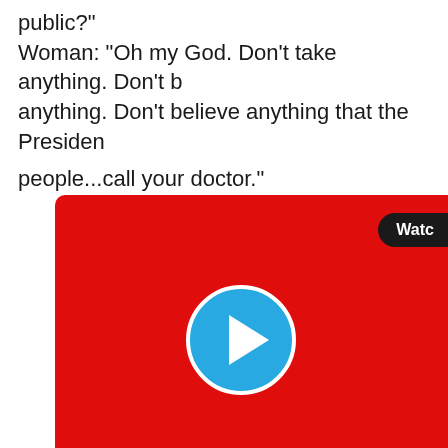public?"
Woman: "Oh my God. Don't take anything. Don't believe anything. Don't believe anything that the President...people...call your doctor."
[Figure (screenshot): Red video thumbnail with a blue play button circle in the center and a dark 'Watch' badge in the upper right corner]